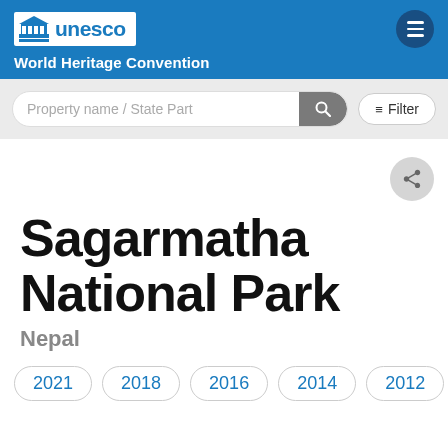UNESCO World Heritage Convention
Property name / State Party search bar with Filter button
Sagarmatha National Park
Nepal
2021
2018
2016
2014
2012